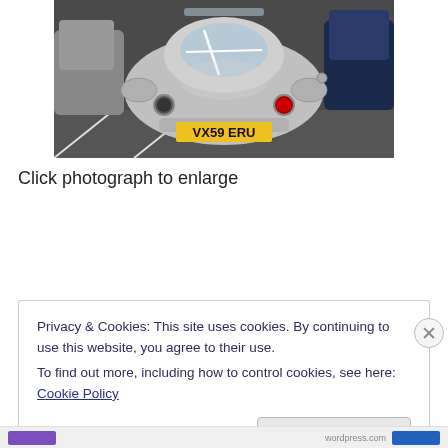[Figure (photo): Rear view of a silver futuristic-looking car with licence plate VX59 ERU parked in a car park, with other vehicles visible on either side.]
Click photograph to enlarge
Privacy & Cookies: This site uses cookies. By continuing to use this website, you agree to their use.
To find out more, including how to control cookies, see here: Cookie Policy